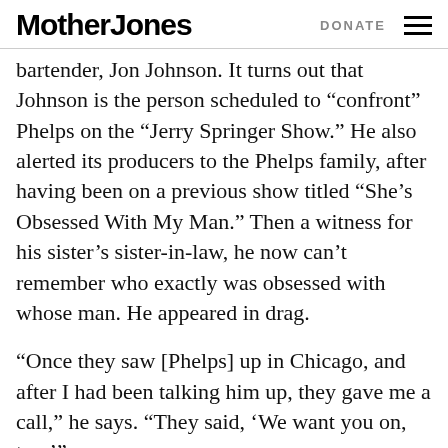Mother Jones   DONATE
bartender, Jon Johnson. It turns out that Johnson is the person scheduled to “confront” Phelps on the “Jerry Springer Show.” He also alerted its producers to the Phelps family, after having been on a previous show titled “She’s Obsessed With My Man.” Then a witness for his sister’s sister-in-law, he now can’t remember who exactly was obsessed with whose man. He appeared in drag.
“Once they saw [Phelps] up in Chicago, and after I had been talking him up, they gave me a call,” he says. “They said, ‘We want you on, too.’”
There was only one catch: They wanted him to appear in drag again. He agreed, and today he has